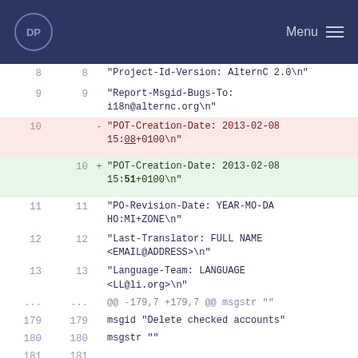DP  Menu
| old | new | sign | code |
| --- | --- | --- | --- |
| 8 | 8 |  | "Project-Id-Version: AlternC 2.0\n" |
| 9 | 9 |  | "Report-Msgid-Bugs-To: i18n@alternc.org\n" |
| 10 |  | - | "POT-Creation-Date: 2013-02-08 15:08+0100\n" |
|  | 10 | + | "POT-Creation-Date: 2013-02-08 15:51+0100\n" |
| 11 | 11 |  | "PO-Revision-Date: YEAR-MO-DA HO:MI+ZONE\n" |
| 12 | 12 |  | "Last-Translator: FULL NAME <EMAIL@ADDRESS>\n" |
| 13 | 13 |  | "Language-Team: LANGUAGE <LL@li.org>\n" |
| ... | ... |  | @@ -179,7 +179,7 @@ msgstr "" |
| 179 | 179 |  | msgid "Delete checked accounts" |
| 180 | 180 |  | msgstr "" |
| 181 | 181 |  |  |
| 182 |  | - | #: ../admin/menu_aws.php:38 |
|  | 182 | + | #: ../admin/menu_aws.php:39 |
| 183 | 183 |  | msgid "Web Statistics" |